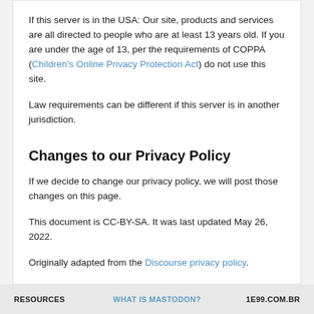If this server is in the USA: Our site, products and services are all directed to people who are at least 13 years old. If you are under the age of 13, per the requirements of COPPA (Children's Online Privacy Protection Act) do not use this site.
Law requirements can be different if this server is in another jurisdiction.
Changes to our Privacy Policy
If we decide to change our privacy policy, we will post those changes on this page.
This document is CC-BY-SA. It was last updated May 26, 2022.
Originally adapted from the Discourse privacy policy.
RESOURCES    WHAT IS MASTODON?    1E99.COM.BR